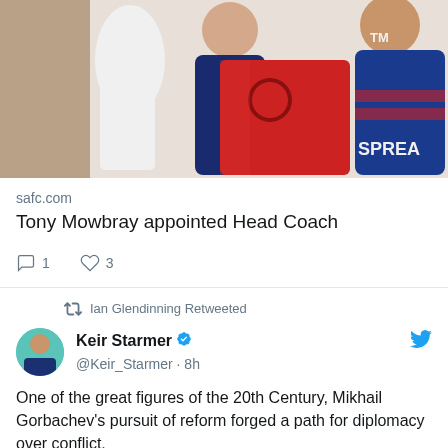[Figure (photo): Two people holding a Sunderland AFC red jersey with 'SPREA' visible on a sponsor background. One person wears a blue jacket with TM logo.]
safc.com
Tony Mowbray appointed Head Coach
1   3
Ian Glendinning Retweeted
Keir Starmer @Keir_Starmer · 8h
One of the great figures of the 20th Century, Mikhail Gorbachev's pursuit of reform forged a path for diplomacy over conflict.
He will forever be remembered as the last leader of the Soviet Union who had the courage and conviction to end the Cold War.